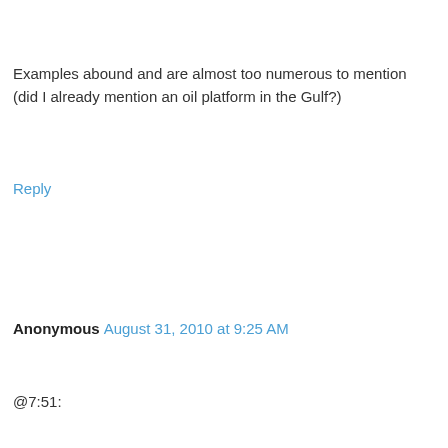Examples abound and are almost too numerous to mention (did I already mention an oil platform in the Gulf?)
Reply
Anonymous  August 31, 2010 at 9:25 AM
@7:51:
“
"Unchecked capitalism tends towards monopoly."
This is a blatant falsehood. It is painfully obvious.
“
TRR: what have you learned from our own Gilded age, which predated the progressive age? The Rockefellers, the Carnegies, the Astors, the Mellons, the Morgans?
I think this is where your ideology gets in the way of the facts. Open your eyes a little wider, and let the knowledge